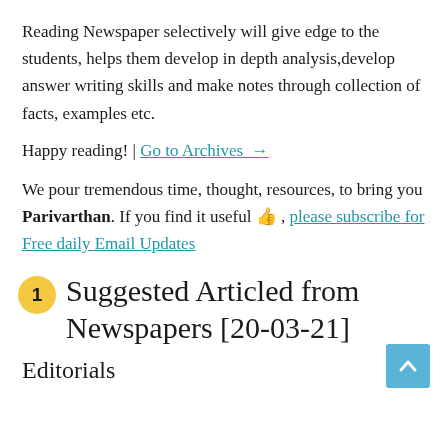Reading Newspaper selectively will give edge to the students, helps them develop in depth analysis,develop answer writing skills and make notes through collection of facts, examples etc.
Happy reading! | Go to Archives →
We pour tremendous time, thought, resources, to bring you Parivarthan. If you find it useful 👍 , please subscribe for Free daily Email Updates
1 Suggested Articled from Newspapers [20-03-21]
Editorials